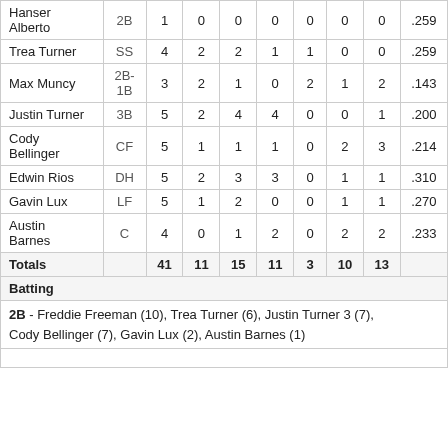| Player | Pos | AB | R | H | RBI | BB | SO | LOB | AVG |
| --- | --- | --- | --- | --- | --- | --- | --- | --- | --- |
| Hanser Alberto | 2B | 1 | 0 | 0 | 0 | 0 | 0 | 0 | .259 |
| Trea Turner | SS | 4 | 2 | 2 | 1 | 1 | 0 | 0 | .259 |
| Max Muncy | 2B-1B | 3 | 2 | 1 | 0 | 2 | 1 | 2 | .143 |
| Justin Turner | 3B | 5 | 2 | 4 | 4 | 0 | 0 | 1 | .200 |
| Cody Bellinger | CF | 5 | 1 | 1 | 1 | 0 | 2 | 3 | .214 |
| Edwin Rios | DH | 5 | 2 | 3 | 3 | 0 | 1 | 1 | .310 |
| Gavin Lux | LF | 5 | 1 | 2 | 0 | 0 | 1 | 1 | .270 |
| Austin Barnes | C | 4 | 0 | 1 | 2 | 0 | 2 | 2 | .233 |
| Totals |  | 41 | 11 | 15 | 11 | 3 | 10 | 13 |  |
Batting
2B - Freddie Freeman (10), Trea Turner (6), Justin Turner 3 (7), Cody Bellinger (7), Gavin Lux (2), Austin Barnes (1)